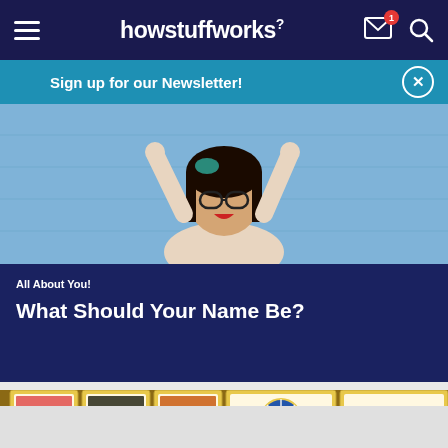howstuffworks
Sign up for our Newsletter!
[Figure (photo): Young Asian woman with glasses and green hair accessories, arms raised, smiling in front of a blue wall]
All About You!
What Should Your Name Be?
[Figure (photo): Tarot cards spread out showing colorful illustrated figures including a knight and wheel of fortune cards]